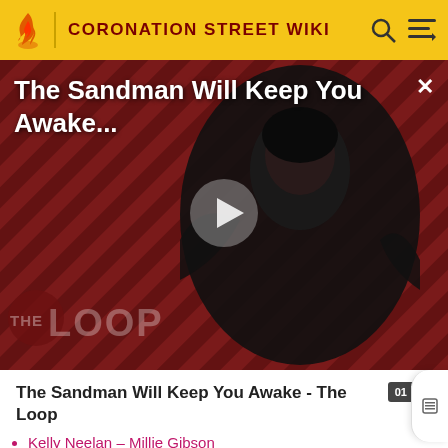CORONATION STREET WIKI
[Figure (screenshot): Video thumbnail for 'The Sandman Will Keep You Awake - The Loop' showing a dark-cloaked figure against a red diagonal striped background with 'THE LOOP' watermark and a play button overlay]
The Sandman Will Keep You Awake - The Loop
Kelly Neelan – Millie Gibson
Abi Franklin – Sally Carman
Liz McDonald – Beverley Callard